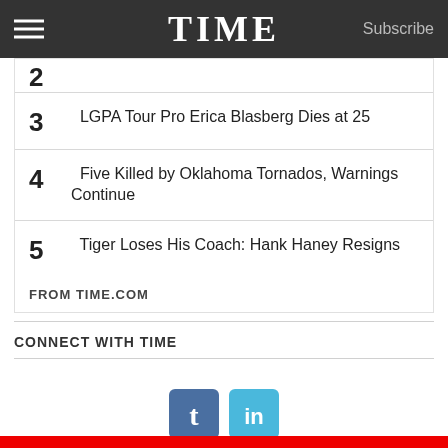TIME  Subscribe
2 (partially visible/cropped)
3  LGPA Tour Pro Erica Blasberg Dies at 25
4  Five Killed by Oklahoma Tornados, Warnings Continue
5  Tiger Loses His Coach: Hank Haney Resigns
FROM TIME.COM
CONNECT WITH TIME
[Figure (logo): Tumblr and LinkedIn social media icons]